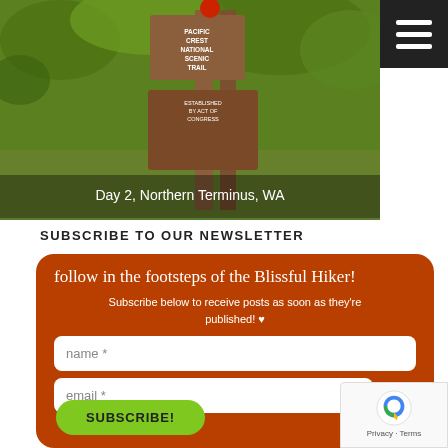[Figure (photo): Outdoor trail scene with wooden sign posts in a green forested area. Sign shows 'Pacific Crest National Scenic Trail'. Caption overlay reads 'Day 2, Northern Terminus, WA'.]
[Figure (other): Hamburger menu icon (three horizontal white lines on dark background) in top-right corner.]
SUBSCRIBE TO OUR NEWSLETTER
follow in the footsteps of the Blissful Hiker!
Subscribe below to receive posts as soon as they're published! ♥
name *
email *
SUBSCRIBE!
[Figure (logo): Google reCAPTCHA badge with spinning logo and 'Privacy · Terms' text]